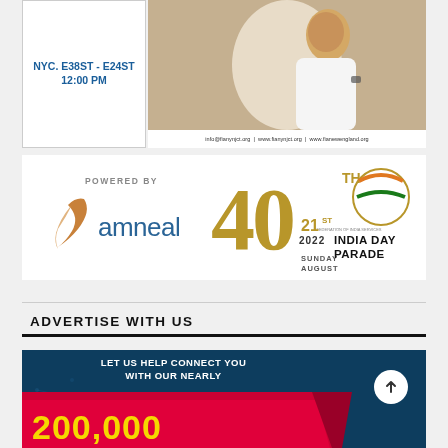[Figure (infographic): Top advertisement banner split into two sections: left side shows 'NYC. E38ST - E24ST 12:00 PM' in blue bold text on white background; right side shows a person in white shirt with contact info strip: info@fianynjct.org | www.fianynjct.org | www.fianewengland.org]
[Figure (logo): Amneal pharmaceuticals logo with swoosh mark on left and '40th India Day Parade SUNDAY AUGUST 21 2022' text with Federation of India emblem on right. Banner says 'POWERED BY' at top.]
ADVERTISE WITH US
[Figure (infographic): Dark blue advertisement with text 'LET US HELP CONNECT YOU WITH OUR NEARLY' in white, large yellow '200,000' text over a red ribbon/banner shape. White circular arrow button on right side.]